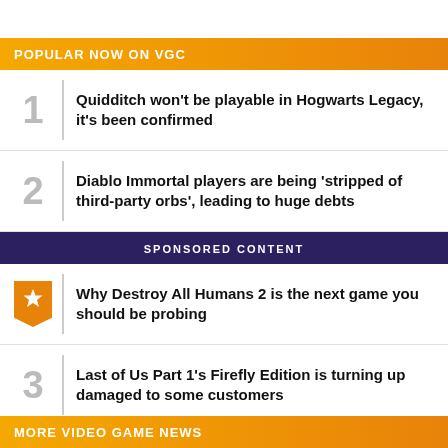POPULAR NOW ON VGC
Quidditch won't be playable in Hogwarts Legacy, it's been confirmed
Diablo Immortal players are being 'stripped of third-party orbs', leading to huge debts
SPONSORED CONTENT
Why Destroy All Humans 2 is the next game you should be probing
Last of Us Part 1's Firefly Edition is turning up damaged to some customers
A Nintendo Direct featuring Wind Waker and Twilight Princess is reportedly coming in September
MORE VIDEO GAME NEWS